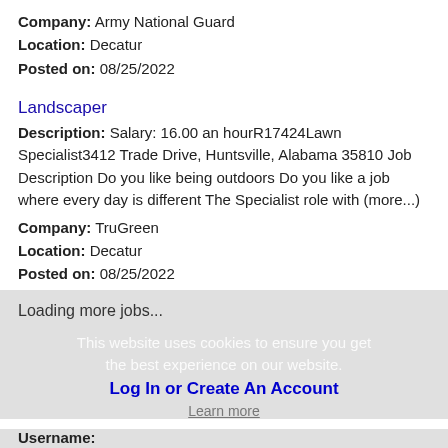Company: Army National Guard
Location: Decatur
Posted on: 08/25/2022
Landscaper
Description: Salary: 16.00 an hourR17424Lawn Specialist3412 Trade Drive, Huntsville, Alabama 35810 Job Description Do you like being outdoors Do you like a job where every day is different The Specialist role with (more...)
Company: TruGreen
Location: Decatur
Posted on: 08/25/2022
Loading more jobs...
This website uses cookies to ensure you get the best experience on our website.
Log In or Create An Account
Learn more
Username:
Got it!
Password: